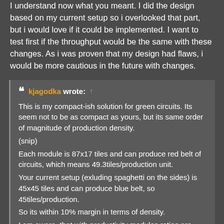I understand now what you meant. I did the design based on my current setup so i overlooked that part, but i would love if it could be implemented. I want to test first if the throughput would be the same with these changes. As i was proven that my design had flaws, i would be more cautious in the future with changes.
kjagodka wrote: ↑ This is my compact-ish solution for green circuits. Its seem not to be as compact as yours, but its same order of magnitude of production density. (snip) Each module is 87x17 tiles and can produce red belt of circuits, which means 49.3tiles/production unit. Your current setup (exluding spaghetti on the sides) is 45x45 tiles and can produce blue belt, so 45tiles/production. So its within 10% margin in terms of density. I am aware, that with productivity modules ratios are skewed and its hard to balance all the factories perfectly, but in my factory design all the bulk items are on global train network, so as long as I overproduce them a bit, every factory will have its needs fulfilled.